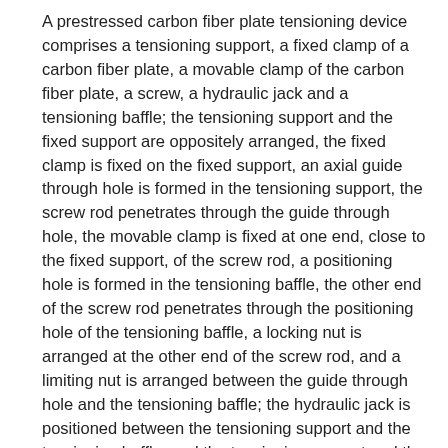A prestressed carbon fiber plate tensioning device comprises a tensioning support, a fixed clamp of a carbon fiber plate, a movable clamp of the carbon fiber plate, a screw, a hydraulic jack and a tensioning baffle; the tensioning support and the fixed support are oppositely arranged, the fixed clamp is fixed on the fixed support, an axial guide through hole is formed in the tensioning support, the screw rod penetrates through the guide through hole, the movable clamp is fixed at one end, close to the fixed support, of the screw rod, a positioning hole is formed in the tensioning baffle, the other end of the screw rod penetrates through the positioning hole of the tensioning baffle, a locking nut is arranged at the other end of the screw rod, and a limiting nut is arranged between the guide through hole and the tensioning baffle; the hydraulic jack is positioned between the tensioning support and the tensioning baffle; and the tensioning support and the fixed support are respectively provided with a connecting flange at opposite sides. The thickness of the structural adhesive layer between the surfaces of the carbon fiber plate and the steel beam member can be adjusted, the structural adhesive layer can be used repeatedly, the installation is convenient and fast, and the